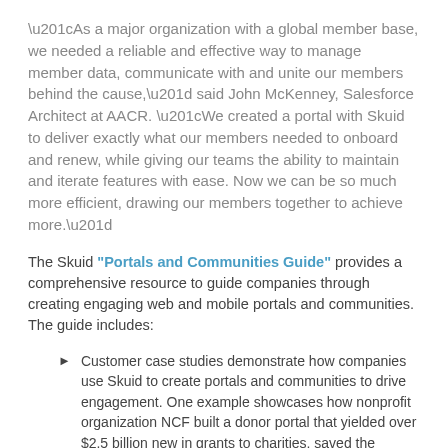“As a major organization with a global member base, we needed a reliable and effective way to manage member data, communicate with and unite our members behind the cause,” said John McKenney, Salesforce Architect at AACR. “We created a portal with Skuid to deliver exactly what our members needed to onboard and renew, while giving our teams the ability to maintain and iterate features with ease. Now we can be so much more efficient, drawing our members together to achieve more.”
The Skuid “Portals and Communities Guide” provides a comprehensive resource to guide companies through creating engaging web and mobile portals and communities. The guide includes:
Customer case studies demonstrate how companies use Skuid to create portals and communities to drive engagement. One example showcases how nonprofit organization NCF built a donor portal that yielded over $2.5 billion new in grants to charities, saved the organization over $1 million in development costs and expedited back-end processing by 99%.
A webinar shows how to leverage the design capabilities of Skuid to build highly customized communities and